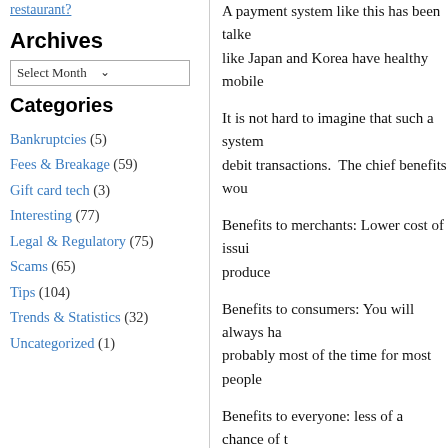restaurant?
Archives
Select Month
Categories
Bankruptcies (5)
Fees & Breakage (59)
Gift card tech (3)
Interesting (77)
Legal & Regulatory (75)
Scams (65)
Tips (104)
Trends & Statistics (32)
Uncategorized (1)
A payment system like this has been talke... like Japan and Korea have healthy mobile...
It is not hard to imagine that such a system... debit transactions.  The chief benefits wou...
Benefits to merchants: Lower cost of issui... produce
Benefits to consumers: You will always ha... probably most of the time for most people...
Benefits to everyone: less of a chance of t... easily accessible.
However, until such a system is ubiquitou... system and traditional gift cards, probably...